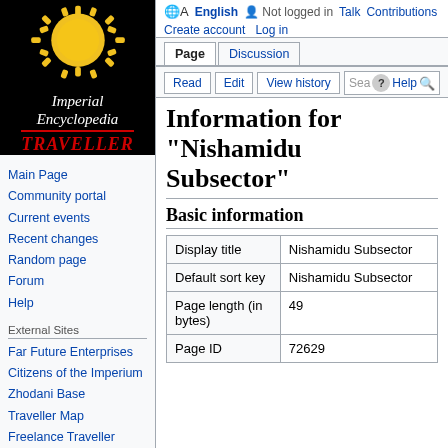[Figure (logo): Imperial Encyclopedia Traveller logo: black background with yellow sun illustration, white italic text 'Imperial Encyclopedia', red italic bold text 'TRAVELLER' with red underline]
Main Page
Community portal
Current events
Recent changes
Random page
Forum
Help
External Sites
Far Future Enterprises
Citizens of the Imperium
Zhodani Base
Traveller Map
Freelance Traveller
🌐 English   Not logged in   Talk   Contributions   Create account   Log in
Information for "Nishamidu Subsector"
Basic information
|  |  |
| --- | --- |
| Display title | Nishamidu Subsector |
| Default sort key | Nishamidu Subsector |
| Page length (in bytes) | 49 |
| Page ID | 72629 |